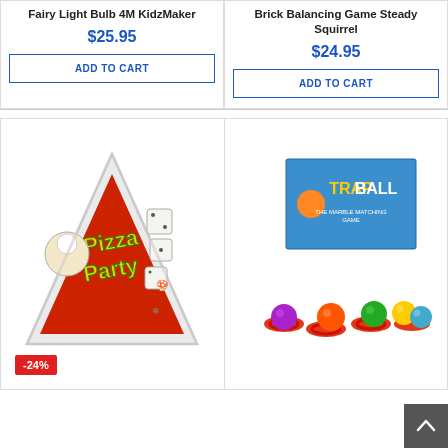Fairy Light Bulb 4M KidzMaker
$25.95
ADD TO CART
Brick Balancing Game Steady Squirrel
$24.95
ADD TO CART
[Figure (photo): Pizza Party dice game in triangular plastic case with red card showing cartoon pizza chef]
-24%
[Figure (photo): Trapball game with colorful balls and red rings on white background, with box showing Trapball branding]